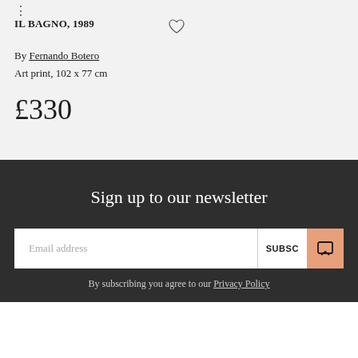IL BAGNO, 1989
By Fernando Botero
Art print, 102 x 77 cm
£330
Sign up to our newsletter
Email address
SUBSC
By subscribing you agree to our Privacy Policy
Grey ash frame with recessed box, 102 x 77 cm
£330
CHANGE FRAME
ADD TO BAG